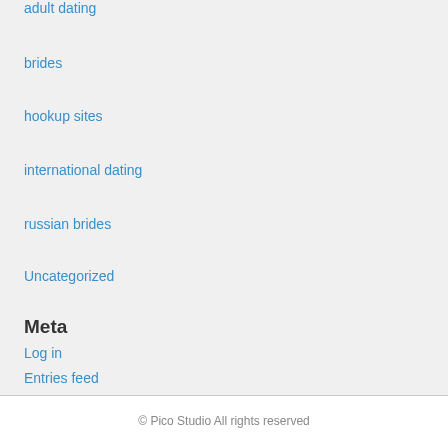adult dating
brides
hookup sites
international dating
russian brides
Uncategorized
Meta
Log in
Entries feed
Comments feed
WordPress.org
© Pico Studio All rights reserved